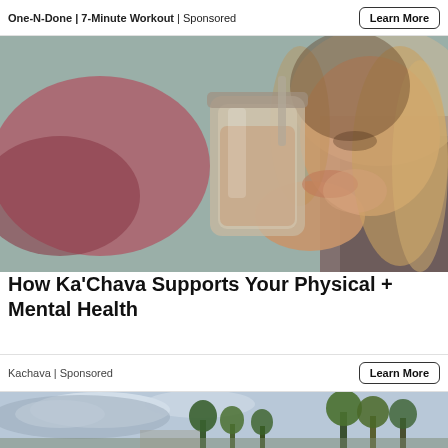One-N-Done | 7-Minute Workout | Sponsored
[Figure (photo): Woman drinking a light brown smoothie from a large mason jar, lying down, with colorful pillows in background]
How Ka'Chava Supports Your Physical + Mental Health
Kachava | Sponsored
[Figure (photo): Partial view of outdoor landscape with trees and sky, bottom strip]